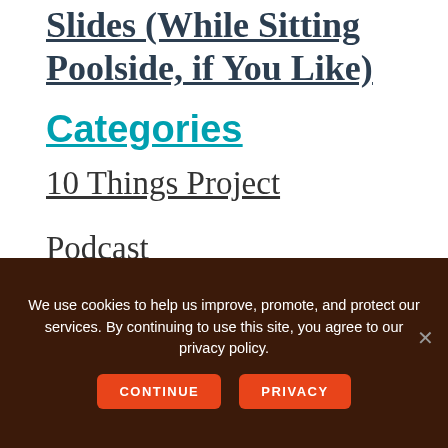Slides (While Sitting Poolside, if You Like)
Categories
10 Things Project
Podcast
Public Speaking
We use cookies to help us improve, promote, and protect our services. By continuing to use this site, you agree to our privacy policy.